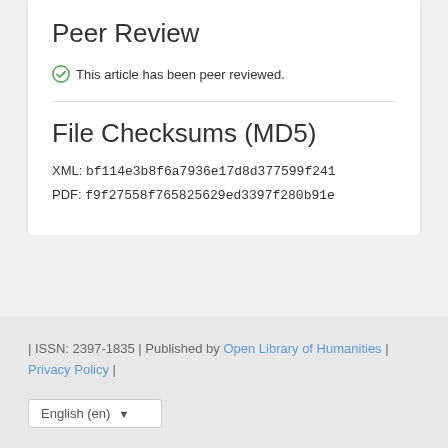Peer Review
This article has been peer reviewed.
File Checksums (MD5)
XML: bf114e3b8f6a7936e17d8d377599f241
PDF: f9f27558f765825629ed3397f280b91e
| ISSN: 2397-1835 | Published by Open Library of Humanities | Privacy Policy |
English (en)